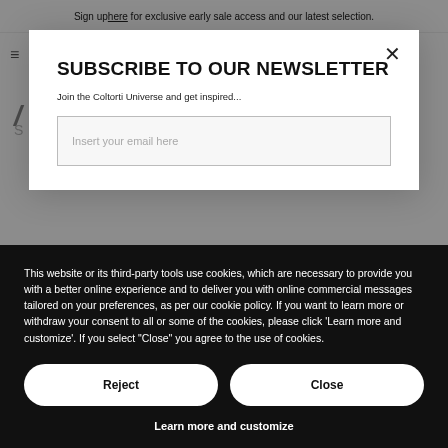Sign up here for exclusive early sale access and our latest selection.
SUBSCRIBE TO OUR NEWSLETTER
Join the Coltorti Universe and get inspired...
Insert your email here
This website or its third-party tools use cookies, which are necessary to provide you with a better online experience and to deliver you with online commercial messages tailored on your preferences, as per our cookie policy. If you want to learn more or withdraw your consent to all or some of the cookies, please click 'Learn more and customize'. If you select "Close" you agree to the use of cookies.
Reject
Close
Learn more and customize